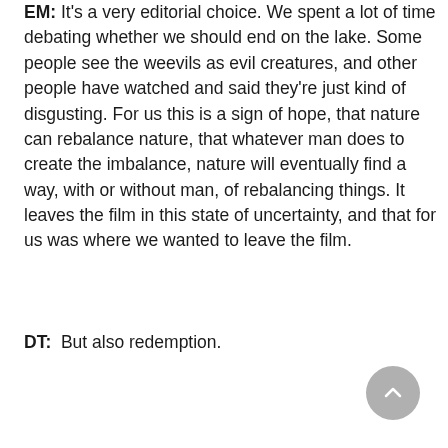EM: It's a very editorial choice. We spent a lot of time debating whether we should end on the lake. Some people see the weevils as evil creatures, and other people have watched and said they're just kind of disgusting. For us this is a sign of hope, that nature can rebalance nature, that whatever man does to create the imbalance, nature will eventually find a way, with or without man, of rebalancing things. It leaves the film in this state of uncertainty, and that for us was where we wanted to leave the film.
DT:  But also redemption.